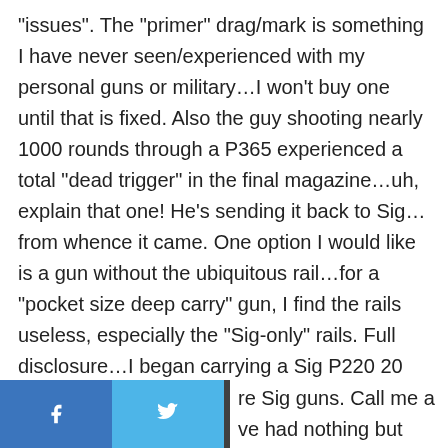“issues”. The “primer” drag/mark is something I have never seen/experienced with my personal guns or military…I won’t buy one until that is fixed. Also the guy shooting nearly 1000 rounds through a P365 experienced a total “dead trigger” in the final magazine…uh, explain that one! He’s sending it back to Sig…from whence it came. One option I would like is a gun without the ubiquitous rail…for a “pocket size deep carry” gun, I find the rails useless, especially the “Sig-only” rails. Full disclosure…I began carrying a Sig P220 20 years ago, my bedside gun is a P228 with Surefire light, I now carry a Sig P320C & P320SC 9mm and I’ve never experienced a failure to feed/fire/eject of any re Sig guns. Call me a ve had nothing but
[Figure (other): Social share bar at bottom with Facebook, Twitter, Reddit, and Email buttons]